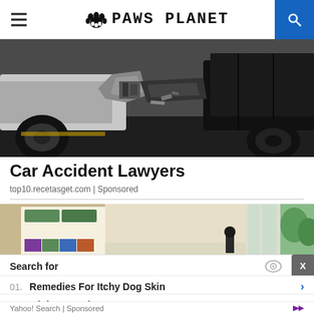PAWS PLANET
[Figure (photo): Car accident crash scene showing two vehicles with heavy front-end damage, crumpled metal and exposed engine components]
Car Accident Lawyers
top10.recetasget.com | Sponsored
[Figure (photo): Interior room scene with shelves, folded items, and a window showing greenery outside]
Search for
01. Remedies For Itchy Dog Skin
02. Miniature Schnauzer Rescue
Yahoo! Search | Sponsored